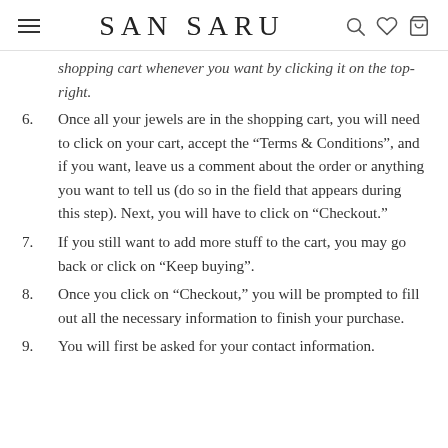SAN SARU
shopping cart whenever you want by clicking it on the top-right.
6. Once all your jewels are in the shopping cart, you will need to click on your cart, accept the “Terms & Conditions”, and if you want, leave us a comment about the order or anything you want to tell us (do so in the field that appears during this step). Next, you will have to click on “Checkout.”
7. If you still want to add more stuff to the cart, you may go back or click on “Keep buying”.
8. Once you click on “Checkout,” you will be prompted to fill out all the necessary information to finish your purchase.
9. You will first be asked for your contact information.